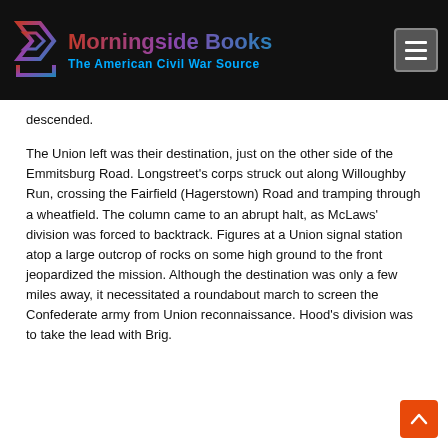Morningside Books — The American Civil War Source
descended.
The Union left was their destination, just on the other side of the Emmitsburg Road. Longstreet's corps struck out along Willoughby Run, crossing the Fairfield (Hagerstown) Road and tramping through a wheatfield. The column came to an abrupt halt, as McLaws' division was forced to backtrack. Figures at a Union signal station atop a large outcrop of rocks on some high ground to the front jeopardized the mission. Although the destination was only a few miles away, it necessitated a roundabout march to screen the Confederate army from Union reconnaissance. Hood's division was to take the lead with Brig.